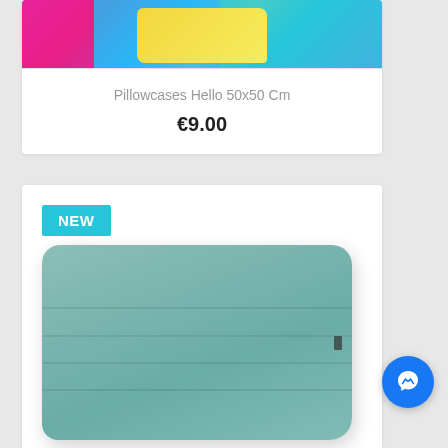[Figure (photo): Colorful pixel-art style pillowcase with neon colors (pink, yellow, teal) partially visible at top of first product card]
Pillowcases Hello 50x50 Cm
€9.00
NEW
[Figure (photo): Green/teal ribbed fabric pillow with horizontal stitched seams, rectangular shape, on white background]